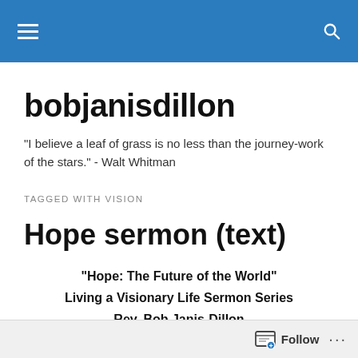bobjanisdillon — navigation header with hamburger menu and search icon
bobjanisdillon
"I believe a leaf of grass is no less than the journey-work of the stars." - Walt Whitman
TAGGED WITH VISION
Hope sermon (text)
“Hope: The Future of the World”
Living a Visionary Life Sermon Series
Rev. Bob Janis-Dillon
The First Unitarian Universalist Fellowship of
Follow ...